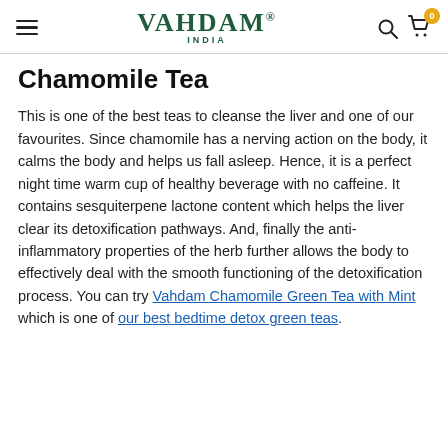VAHDAM® INDIA
Chamomile Tea
This is one of the best teas to cleanse the liver and one of our favourites. Since chamomile has a nerving action on the body, it calms the body and helps us fall asleep. Hence, it is a perfect night time warm cup of healthy beverage with no caffeine. It contains sesquiterpene lactone content which helps the liver clear its detoxification pathways. And, finally the anti-inflammatory properties of the herb further allows the body to effectively deal with the smooth functioning of the detoxification process. You can try Vahdam Chamomile Green Tea with Mint which is one of our best bedtime detox green teas.